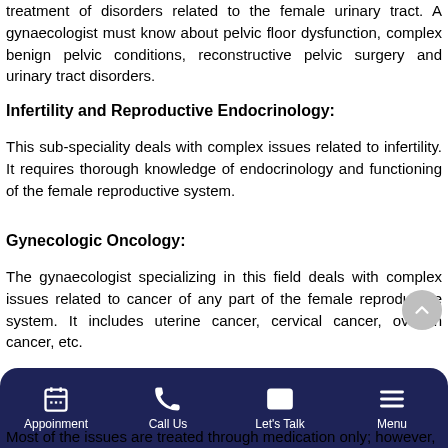treatment of disorders related to the female urinary tract. A gynaecologist must know about pelvic floor dysfunction, complex benign pelvic conditions, reconstructive pelvic surgery and urinary tract disorders.
Infertility and Reproductive Endocrinology:
This sub-speciality deals with complex issues related to infertility. It requires thorough knowledge of endocrinology and functioning of the female reproductive system.
Gynecologic Oncology:
The gynaecologist specializing in this field deals with complex issues related to cancer of any part of the female reproductive system. It includes uterine cancer, cervical cancer, ovarian cancer, etc.
Common disorders that are detected and treated by a gynaecologist include the following: Most of the issues are treated through medication only; however,